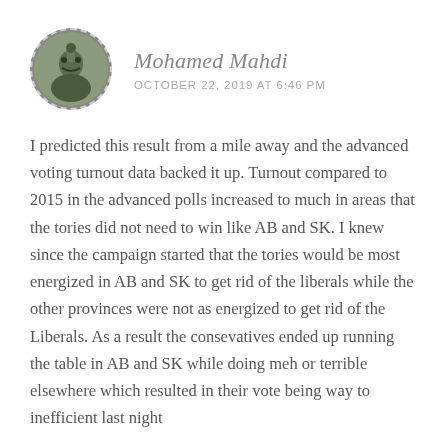[Figure (photo): Circular avatar photo of a person, with dashed circular border]
Mohamed Mahdi
OCTOBER 22, 2019 AT 6:46 PM
I predicted this result from a mile away and the advanced voting turnout data backed it up. Turnout compared to 2015 in the advanced polls increased to much in areas that the tories did not need to win like AB and SK. I knew since the campaign started that the tories would be most energized in AB and SK to get rid of the liberals while the other provinces were not as energized to get rid of the Liberals. As a result the consevatives ended up running the table in AB and SK while doing meh or terrible elsewhere which resulted in their vote being way to inefficient last night
In terms of ontario I knew they liberals were going to win staying in mostly Ontario then add the more votes out the